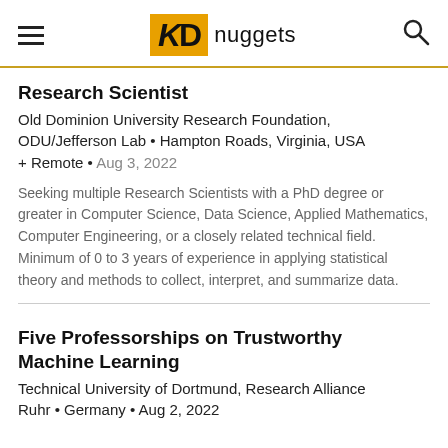KD nuggets
Research Scientist
Old Dominion University Research Foundation, ODU/Jefferson Lab • Hampton Roads, Virginia, USA + Remote • Aug 3, 2022
Seeking multiple Research Scientists with a PhD degree or greater in Computer Science, Data Science, Applied Mathematics, Computer Engineering, or a closely related technical field. Minimum of 0 to 3 years of experience in applying statistical theory and methods to collect, interpret, and summarize data.
Five Professorships on Trustworthy Machine Learning
Technical University of Dortmund, Research Alliance Ruhr • Germany • Aug 2, 2022